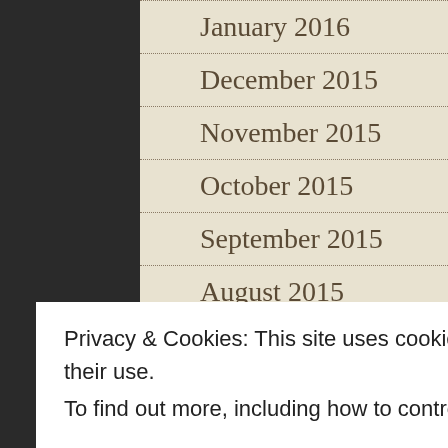January 2016
December 2015
November 2015
October 2015
September 2015
August 2015
July 2015
June 2015
May 2015
April 2015
Privacy & Cookies: This site uses cookies. By continuing to use this website, you agree to their use.
To find out more, including how to control cookies, see here: Cookie Policy
November 2014